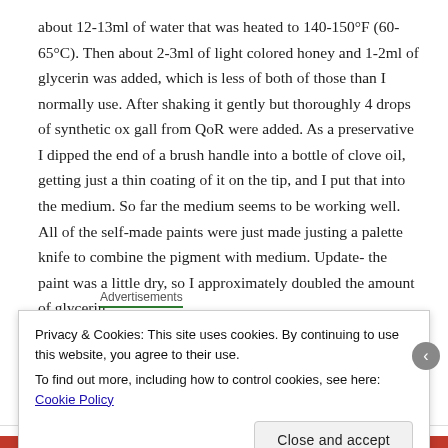about 12-13ml of water that was heated to 140-150°F (60-65°C). Then about 2-3ml of light colored honey and 1-2ml of glycerin was added, which is less of both of those than I normally use. After shaking it gently but thoroughly 4 drops of synthetic ox gall from QoR were added. As a preservative I dipped the end of a brush handle into a bottle of clove oil, getting just a thin coating of it on the tip, and I put that into the medium. So far the medium seems to be working well. All of the self-made paints were just made justing a palette knife to combine the pigment with medium. Update- the paint was a little dry, so I approximately doubled the amount of glycerin.
Advertisements
Privacy & Cookies: This site uses cookies. By continuing to use this website, you agree to their use.
To find out more, including how to control cookies, see here: Cookie Policy
[Close and accept]